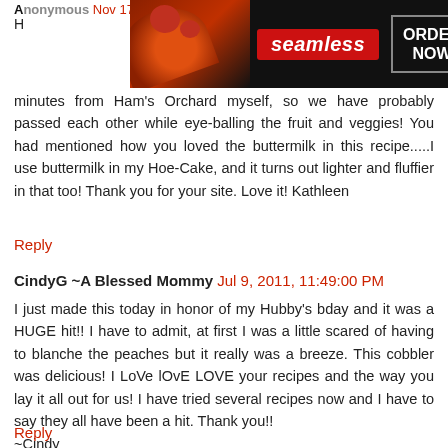Anonymous Nov 17, 2010, 8:26:00 PM
[Figure (screenshot): Seamless food ordering advertisement banner with pizza image, red Seamless logo, and ORDER NOW button on dark background]
minutes from Ham's Orchard myself, so we have probably passed each other while eye-balling the fruit and veggies! You had mentioned how you loved the buttermilk in this recipe.....I use buttermilk in my Hoe-Cake, and it turns out lighter and fluffier in that too! Thank you for your site. Love it! Kathleen
Reply
CindyG ~A Blessed Mommy  Jul 9, 2011, 11:49:00 PM
I just made this today in honor of my Hubby's bday and it was a HUGE hit!! I have to admit, at first I was a little scared of having to blanche the peaches but it really was a breeze. This cobbler was delicious! I LoVe lOvE LOVE your recipes and the way you lay it all out for us! I have tried several recipes now and I have to say they all have been a hit. Thank you!!
~Cindy
Reply